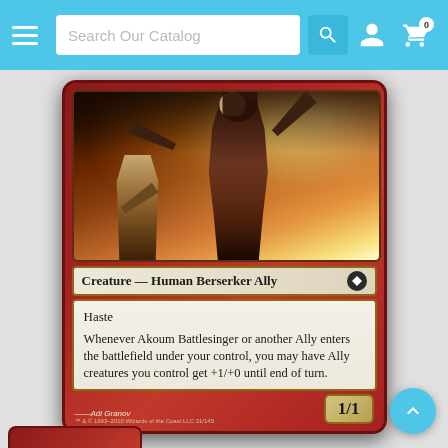Search Our Catalog
[Figure (photo): Magic: The Gathering card scan of Akoum Battlesinger. Shows a female warrior figure with swords raised against a fiery explosive background, with a secondary hooded figure behind her.]
Creature — Human Berserker Ally
Haste
Whenever Akoum Battlesinger or another Ally enters the battlefield under your control, you may have Ally creatures you control get +1/+0 until end of turn.
Adi Granov
™ & © 1993–2010 Wizards of the Coast LLC 21/145
1/1